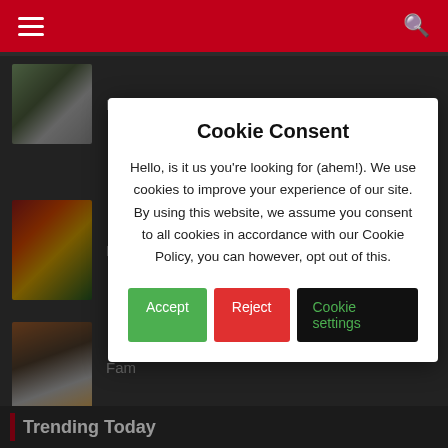[Figure (screenshot): Red navigation bar with hamburger menu icon on left and search icon on right]
[Figure (screenshot): Brookside TV show thumbnail with text label 'Brookside']
[Figure (screenshot): Numb... TV show thumbnail with partial text label]
[Figure (screenshot): Fame TV show thumbnail with partial text label]
Cookie Consent

Hello, is it us you're looking for (ahem!). We use cookies to improve your experience of our site. By using this website, we assume you consent to all cookies in accordance with our Cookie Policy, you can however, opt out of this.

Accept | Reject | Cookie settings
Trending Today